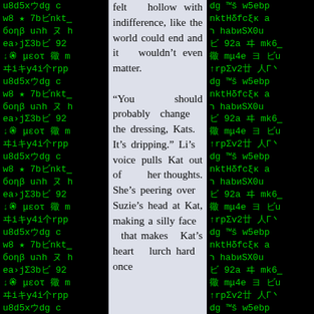[Figure (illustration): Green matrix-style code characters on black background, left panel]
felt hollow with indifference, like the world could end and it wouldn't even matter.

"You should probably change the dressing, Kats. It's dripping." Li's voice pulls Kat out of her thoughts. She's peering over Suzie's head at Kat, making a silly face that makes Kat's heart lurch hard once
[Figure (illustration): Green matrix-style code characters on black background, right panel]